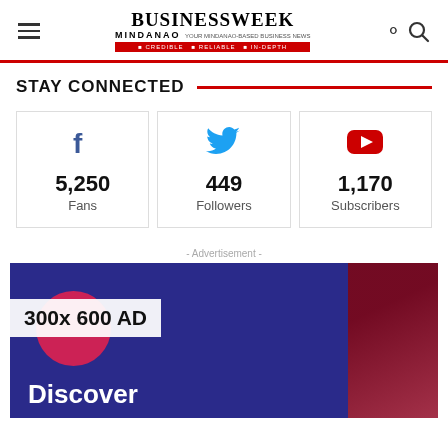BusinessWeek Mindanao
STAY CONNECTED
5,250 Fans (Facebook)
449 Followers (Twitter)
1,170 Subscribers (YouTube)
- Advertisement -
[Figure (infographic): 300x600 AD banner showing a dark blue background with pink circle, text '300x 600 AD' in white overlay box, 'Discover' text at bottom, red gradient on right side]